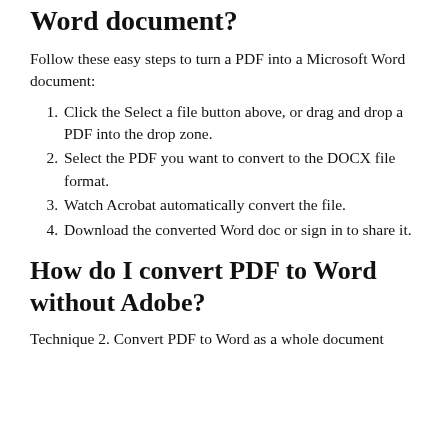Word document?
Follow these easy steps to turn a PDF into a Microsoft Word document:
Click the Select a file button above, or drag and drop a PDF into the drop zone.
Select the PDF you want to convert to the DOCX file format.
Watch Acrobat automatically convert the file.
Download the converted Word doc or sign in to share it.
How do I convert PDF to Word without Adobe?
Technique 2. Convert PDF to Word as a whole document